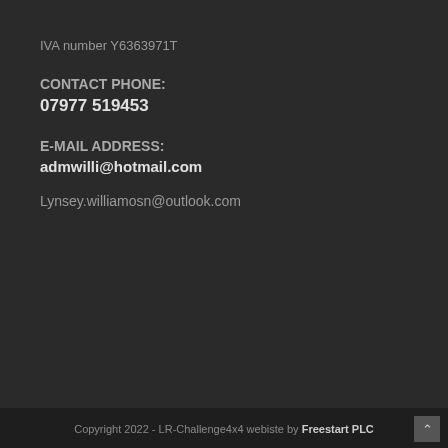IVA number Y6363971T
CONTACT PHONE:
07977 519453
E-MAIL ADDRESS:
admwilli@hotmail.com
Lynsey.williamosn@outlook.com
Copyright 2022 - LR-Challenge4x4 webiste by Freestart PLC